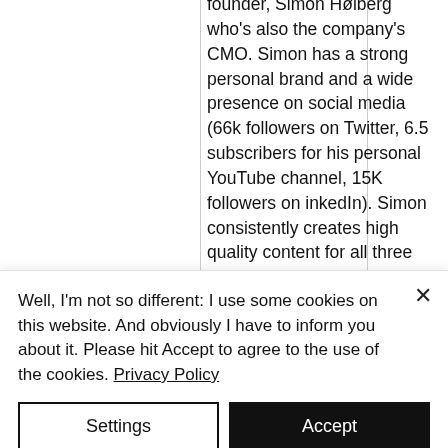founder, Simon Høiberg who's also the company's CMO. Simon has a strong personal brand and a wide presence on social media (66k followers on Twitter, 6.5 subscribers for his personal YouTube channel, 15K followers on inkedIn). Simon consistently creates high quality content for all three platforms and grows his audience pretty fast. HypeFury's both cofounders — Yannick Veys and Samy Dindane — are also influencers on Twitter though with much smaller following
Well, I'm not so different: I use some cookies on this website. And obviously I have to inform you about it. Please hit Accept to agree to the use of the cookies. Privacy Policy
Settings
Accept